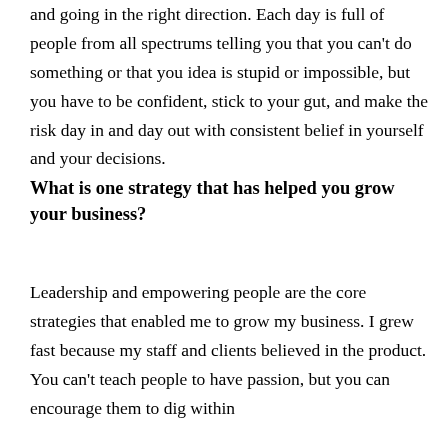and going in the right direction. Each day is full of people from all spectrums telling you that you can't do something or that you idea is stupid or impossible, but you have to be confident, stick to your gut, and make the risk day in and day out with consistent belief in yourself and your decisions.
What is one strategy that has helped you grow your business?
Leadership and empowering people are the core strategies that enabled me to grow my business. I grew fast because my staff and clients believed in the product. You can't teach people to have passion, but you can encourage them to dig within